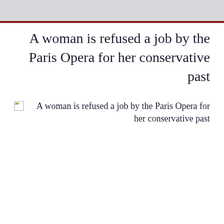A woman is refused a job by the Paris Opera for her conservative past
[Figure (photo): Broken image placeholder with alt text: A woman is refused a job by the Paris Opera for her conservative past]